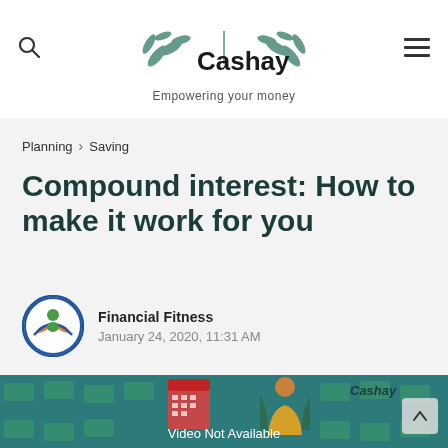Cashay — Empowering your money
Planning > Saving
Compound interest: How to make it work for you
Financial Fitness
January 24, 2020, 11:31 AM
[Figure (screenshot): Video thumbnail with teal background showing illustrated woman and dollar bills with text 'Video Not Available' and Cashay watermark]